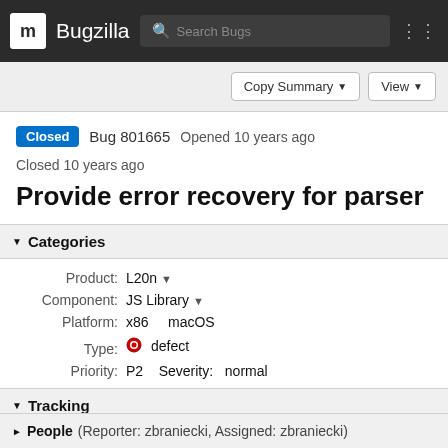m  Bugzilla  Search Bugs
Copy Summary  View
Closed  Bug 801665  Opened 10 years ago  Closed 10 years ago
Provide error recovery for parser
▼ Categories
Product: L20n
Component: JS Library
Platform: x86  macOS
Type: defect
Priority: P2  Severity: normal
▼ Tracking
Status: RESOLVED FIXED
Milestone: 1.0
▶ People (Reporter: zbraniecki, Assigned: zbraniecki)